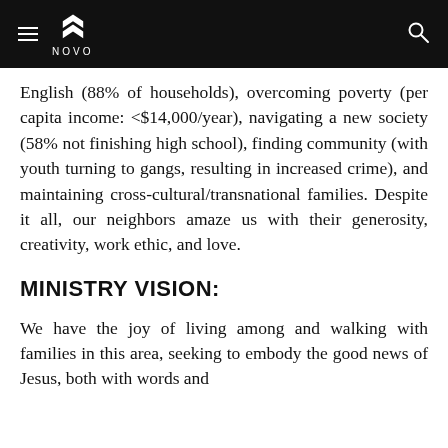NOVO
English (88% of households), overcoming poverty (per capita income: <$14,000/year), navigating a new society (58% not finishing high school), finding community (with youth turning to gangs, resulting in increased crime), and maintaining cross-cultural/transnational families. Despite it all, our neighbors amaze us with their generosity, creativity, work ethic, and love.
MINISTRY VISION:
We have the joy of living among and walking with families in this area, seeking to embody the good news of Jesus, both with words and